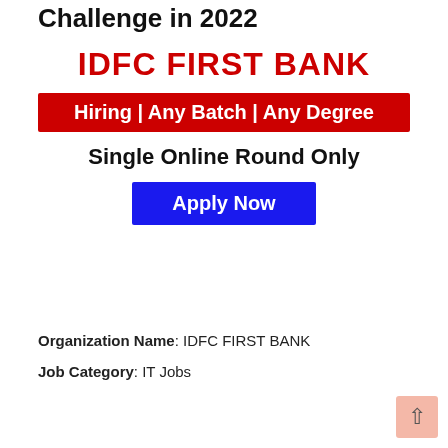Challenge in 2022
IDFC FIRST BANK
Hiring | Any Batch | Any Degree
Single Online Round Only
Apply Now
Organization Name: IDFC FIRST BANK
Job Category: IT Jobs